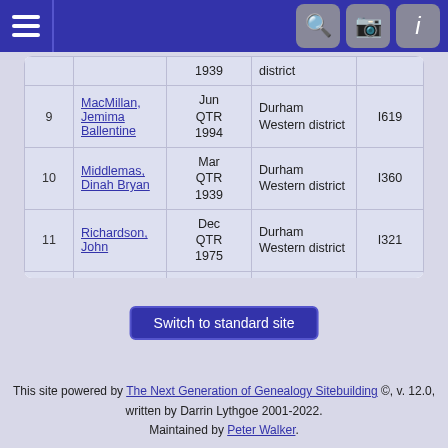Navigation header with hamburger menu and icons
| # | Name | Date | Place | ID |
| --- | --- | --- | --- | --- |
|  |  | 1939 | district |  |
| 9 | MacMillan, Jemima Ballentine | Jun QTR 1994 | Durham Western district | I619 |
| 10 | Middlemas, Dinah Bryan | Mar QTR 1939 | Durham Western district | I360 |
| 11 | Richardson, John | Dec QTR 1975 | Durham Western district | I321 |
| 12 | Richardson, Maurice | Dec QTR 1994 | Durham Western district | I548 |
| 13 | Turnbull, William Marley | Dec QTR 1938 | Durham Western district | I651 |
Switch to standard site
This site powered by The Next Generation of Genealogy Sitebuilding ©, v. 12.0, written by Darrin Lythgoe 2001-2022. Maintained by Peter Walker.